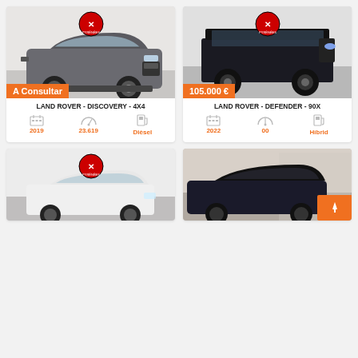[Figure (photo): Car listing card: Land Rover Discovery 4x4, grey SUV, price A Consultar, year 2019, km 23.619, fuel Dièsel]
[Figure (photo): Car listing card: Land Rover Defender 90X, dark SUV, price 105.000€, year 2022, km 00, fuel Híbrid]
[Figure (photo): Car listing card partial: white sedan car with Pyrénées logo badge]
[Figure (photo): Car listing card partial: dark BMW in dealership showroom]